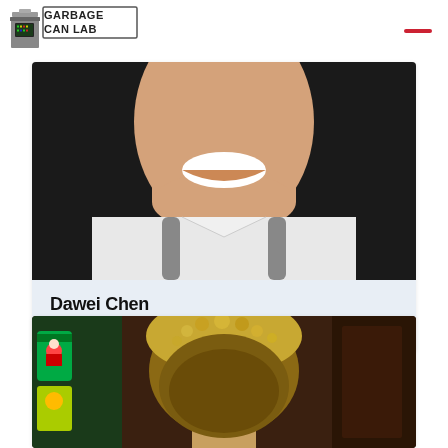[Figure (logo): Garbage Can Lab logo with pixelated trash can icon and text 'GARBAGE CAN LAB']
[Figure (photo): Photo of Dawei Chen smiling, wearing a white shirt with backpack straps visible, cropped at chin level, dark background]
Dawei Chen
PhD Student
[Figure (photo): Photo showing the back of a person's head wearing a furry/fuzzy hat, colorful items visible in background]